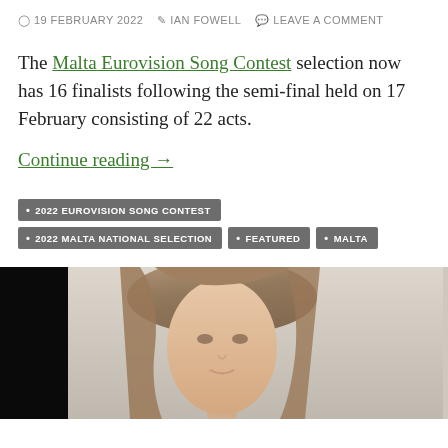19 FEBRUARY 2022  IAN FOWELL  LEAVE A COMMENT
The Malta Eurovision Song Contest selection now has 16 finalists following the semi-final held on 17 February consisting of 22 acts.
Continue reading →
2022 EUROVISION SONG CONTEST
2022 MALTA NATIONAL SELECTION
FEATURED
MALTA
[Figure (photo): Portrait photo of a young woman with long brown hair, light background, photo is partially cropped at the bottom of the page]